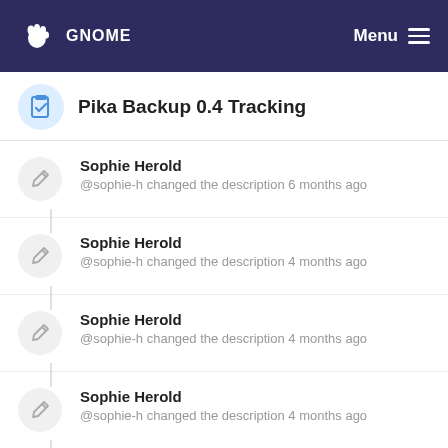GNOME  Menu
Pika Backup 0.4 Tracking
Sophie Herold
@sophie-h changed the description 6 months ago
Sophie Herold
@sophie-h changed the description 4 months ago
Sophie Herold
@sophie-h changed the description 4 months ago
Sophie Herold
@sophie-h changed the description 4 months ago
Sophie Herold
@sophie-h changed the description 4 months ago